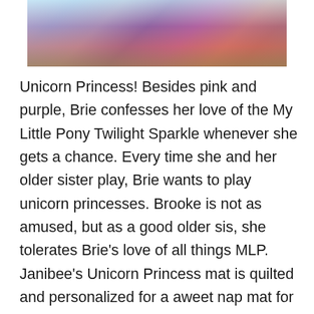[Figure (photo): Photo of a quilted nap mat with colorful unicorn princess fabric in aqua, purple, and pink tones with a red border, laid on a carpet.]
Unicorn Princess!  Besides pink and purple, Brie confesses her love of the My Little Pony Twilight Sparkle whenever she gets a chance.  Every time she and her older sister play, Brie wants to play unicorn princesses.  Brooke is not as amused, but as a good older sis, she tolerates Brie's love of all things MLP.  Janibee's Unicorn Princess mat is quilted and personalized for a aweet nap mat for your little princess.  The colors and patterns are so adorable in aqua, hot pink and lavender with perfect ties and a personalized name included for an extra fee.  Brie couldn't be more excited that her new nap mat fits HER personality this time.  This nap map was inspired by Michael Miller's fabric, Unicorn Princess.  It includes a lavender blanket and pillowcase that is OH SO SOFT. The